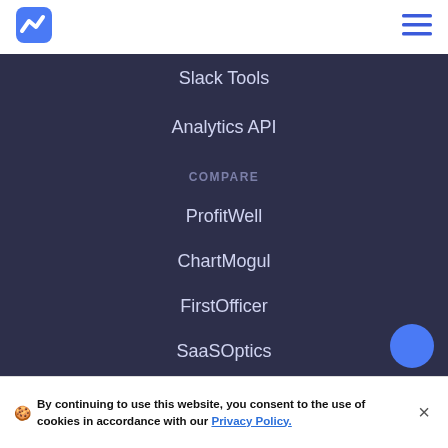[Figure (logo): Blue zigzag/lightning bolt logo icon in the top left header]
[Figure (other): Hamburger menu icon (three horizontal blue lines) in the top right header]
Slack Tools
Analytics API
COMPARE
ProfitWell
ChartMogul
FirstOfficer
SaaSOptics
MRR.io
Stripe Analytics & Dunning
By continuing to use this website, you consent to the use of cookies in accordance with our Privacy Policy.